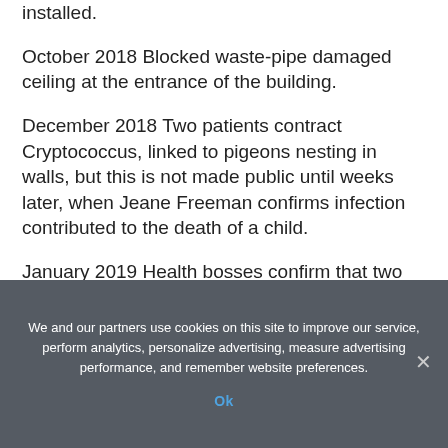installed.
October 2018 Blocked waste-pipe damaged ceiling at the entrance of the building.
December 2018 Two patients contract Cryptococcus, linked to pigeons nesting in walls, but this is not made public until weeks later, when Jeane Freeman confirms infection contributed to the death of a child.
January 2019 Health bosses confirm that two other patients have been infected with an
We and our partners use cookies on this site to improve our service, perform analytics, personalize advertising, measure advertising performance, and remember website preferences.
Ok